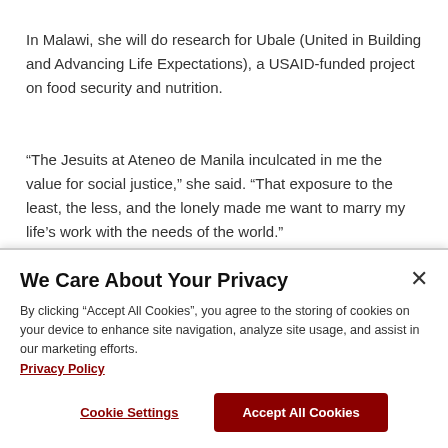In Malawi, she will do research for Ubale (United in Building and Advancing Life Expectations), a USAID-funded project on food security and nutrition.
“The Jesuits at Ateneo de Manila inculcated in me the value for social justice,” she said. “That exposure to the least, the less, and the lonely made me want to marry my life’s work with the needs of the world.”
We Care About Your Privacy
By clicking “Accept All Cookies”, you agree to the storing of cookies on your device to enhance site navigation, analyze site usage, and assist in our marketing efforts. Privacy Policy
Cookie Settings
Accept All Cookies